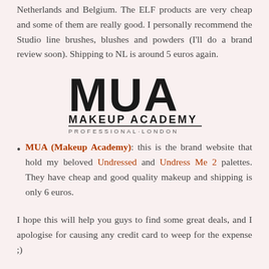Netherlands and Belgium. The ELF products are very cheap and some of them are really good. I personally recommend the Studio line brushes, blushes and powders (I'll do a brand review soon). Shipping to NL is around 5 euros again.
[Figure (logo): MUA Makeup Academy Professional London logo in black text]
MUA (Makeup Academy): this is the brand website that hold my beloved Undressed and Undress Me 2 palettes. They have cheap and good quality makeup and shipping is only 6 euros.
I hope this will help you guys to find some great deals, and I apologise for causing any credit card to weep for the expense ;)